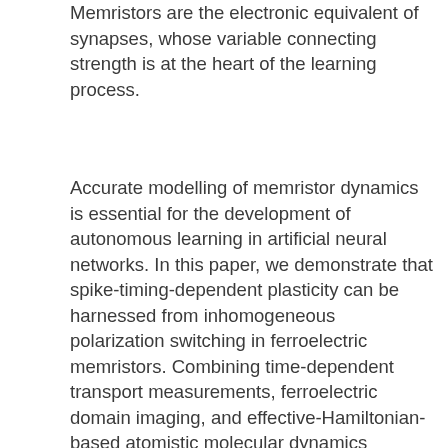Memristors are the electronic equivalent of synapses, whose variable connecting strength is at the heart of the learning process.
Accurate modelling of memristor dynamics is essential for the development of autonomous learning in artificial neural networks. In this paper, we demonstrate that spike-timing-dependent plasticity can be harnessed from inhomogeneous polarization switching in ferroelectric memristors. Combining time-dependent transport measurements, ferroelectric domain imaging, and effective-Hamiltonian-based atomistic molecular dynamics simulations, we show that the ferroelectric switching underlying resistance changes in these devices can be described by a nucleation-limited model. Using this physical model, we can reliably predict the conductance evolution of ferroelectric synapses with varying neural inputs. These results pave the way toward low-power hardware implementations of billions of reliable and